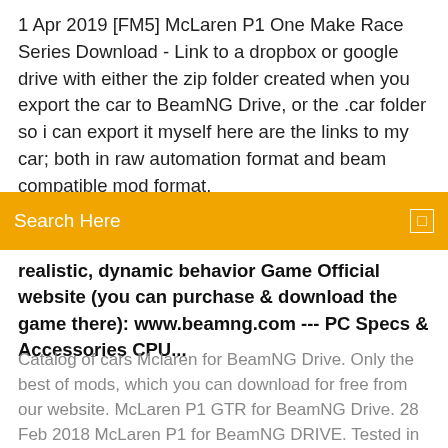1 Apr 2019 [FM5] McLaren P1 One Make Race Series Download - Link to a dropbox or google drive with either the zip folder created when you export the car to BeamNG Drive, or the .car folder so i can export it myself here are the links to my car; both in raw automation format and beam compatible mod format.
Search Here
realistic, dynamic behavior Game Official website (you can purchase & download the game there): www.beamng.com --- PC Specs & Accessories CPU...
Catalog of cars Mclaren for BeamNG Drive. Only the best of mods, which you can download for free from our website. McLaren P1 GTR for BeamNG Drive. 28 Feb 2018 McLaren P1 for BeamNG DRIVE. Tested in game version 0.11.0.5.5392. Download mod McLaren P1 for BeamNG DRIVE you to the links below  12 Mar 2015 Site mods: http://modsgaming.ru Group of fans BeamNG DRIVE: Developer website: